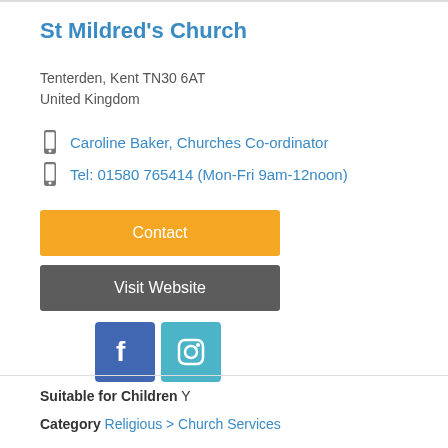St Mildred's Church
Tenterden, Kent TN30 6AT
United Kingdom
Caroline Baker, Churches Co-ordinator
Tel: 01580 765414 (Mon-Fri 9am-12noon)
Contact
Visit Website
[Figure (logo): Facebook and Instagram social media icons]
Suitable for Children  Y
Category  Religious > Church Services